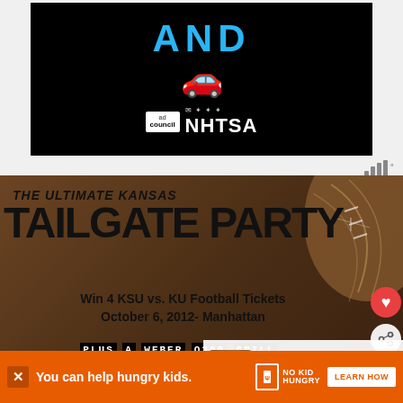[Figure (photo): Advertisement banner with black background showing 'AND' text in blue and red car emoji with Ad Council and NHTSA logos]
[Figure (screenshot): Weather widget showing temperature bars icon with degree symbol]
[Figure (photo): The Ultimate Kansas Tailgate Party promotional image on football background. Win 4 KSU vs. KU Football Tickets October 6, 2012- Manhattan. Plus a Weber Q300 Grill and More!]
[Figure (photo): What's Next panel: Give Thanks to Farmers, with trophy thumbnail]
[Figure (photo): Bottom advertisement: You can help hungry kids. No Kid Hungry. Learn How.]